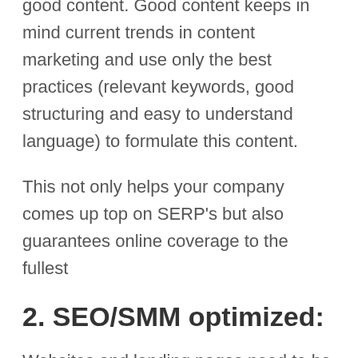good content. Good content keeps in mind current trends in content marketing and use only the best practices (relevant keywords, good structuring and easy to understand language) to formulate this content.
This not only helps your company comes up top on SERP's but also guarantees online coverage to the fullest
2. SEO/SMM optimized:
Websites and landing pages need to be optimized so that the focus is primarily